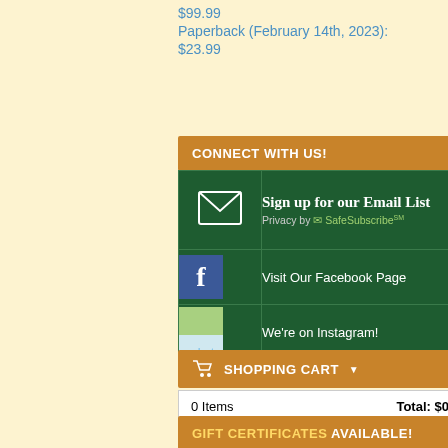$99.99
Paperback (February 14th, 2023): $23.99
CONNECT WITH US!
| Icon | Link |
| --- | --- |
| [envelope icon] | Sign up for our Email List / Privacy by SafeSubscribeSM |
| [Facebook icon] | Visit Our Facebook Page |
| [Instagram icon] | We're on Instagram! |
SHOPPING CART
| Items | Total |
| --- | --- |
| 0 Items | Total: $0.00 |
GIFT CERTIFICATES AVAILABLE!